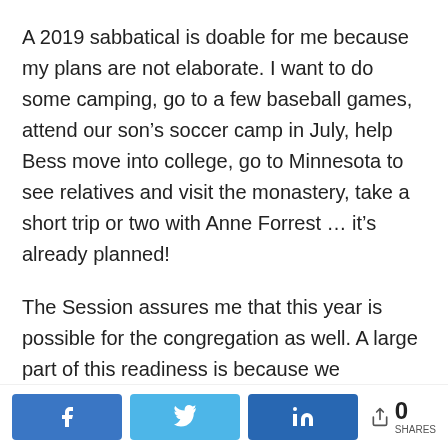A 2019 sabbatical is doable for me because my plans are not elaborate. I want to do some camping, go to a few baseball games, attend our son's soccer camp in July, help Bess move into college, go to Minnesota to see relatives and visit the monastery, take a short trip or two with Anne Forrest … it's already planned!
The Session assures me that this year is possible for the congregation as well. A large part of this readiness is because we
[Figure (other): Social share bar with Facebook, Twitter, LinkedIn buttons and share count of 0]